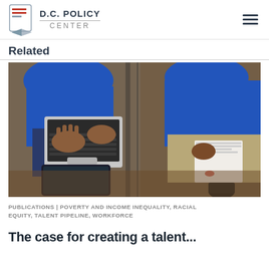D.C. POLICY CENTER
Related
[Figure (photo): Two students wearing blue uniforms, one using a laptop computer while the other holds papers, viewed from above on a wooden floor.]
PUBLICATIONS | POVERTY AND INCOME INEQUALITY, RACIAL EQUITY, TALENT PIPELINE, WORKFORCE
The case for creating a talent...